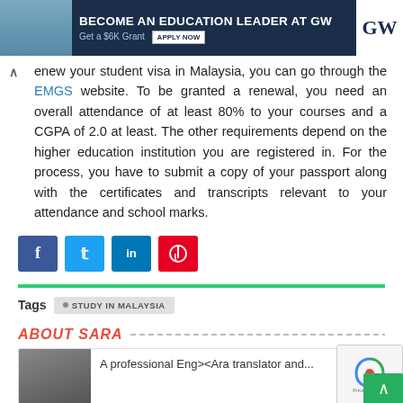[Figure (screenshot): Banner advertisement for George Washington University: 'BECOME AN EDUCATION LEADER AT GW' with 'Get a $6K Grant' and 'APPLY NOW' button, GW logo on right, person in classroom on left]
renew your student visa in Malaysia, you can go through the EMGS website. To be granted a renewal, you need an overall attendance of at least 80% to your courses and a CGPA of 2.0 at least. The other requirements depend on the higher education institution you are registered in. For the process, you have to submit a copy of your passport along with the certificates and transcripts relevant to your attendance and school marks.
[Figure (infographic): Social share buttons: Facebook (blue), Twitter (light blue), LinkedIn (dark blue), Pinterest (red)]
Tags  • STUDY IN MALAYSIA
ABOUT SARA
A professional Eng><Ara translator and...